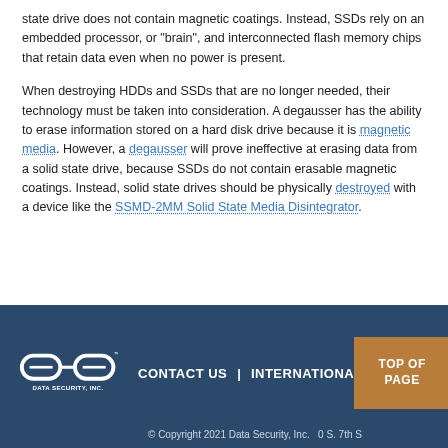state drive does not contain magnetic coatings. Instead, SSDs rely on an embedded processor, or "brain", and interconnected flash memory chips that retain data even when no power is present.
When destroying HDDs and SSDs that are no longer needed, their technology must be taken into consideration. A degausser has the ability to erase information stored on a hard disk drive because it is magnetic media. However, a degausser will prove ineffective at erasing data from a solid state drive, because SSDs do not contain erasable magnetic coatings. Instead, solid state drives should be physically destroyed with a device like the SSMD-2MM Solid State Media Disintegrator.
CONTACT US   INTERNATIONAL   TOP OF PAGE   © Copyright 2021 Data Security, Inc. ... S. 7th s